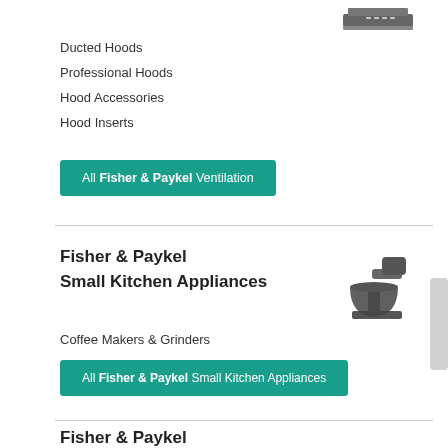[Figure (illustration): Gray icon of a range hood / ventilation unit viewed from below]
Ducted Hoods
Professional Hoods
Hood Accessories
Hood Inserts
All Fisher & Paykel Ventilation
Fisher & Paykel Small Kitchen Appliances
[Figure (illustration): Gray icon of a stand mixer]
Coffee Makers & Grinders
All Fisher & Paykel Small Kitchen Appliances
Fisher & Paykel